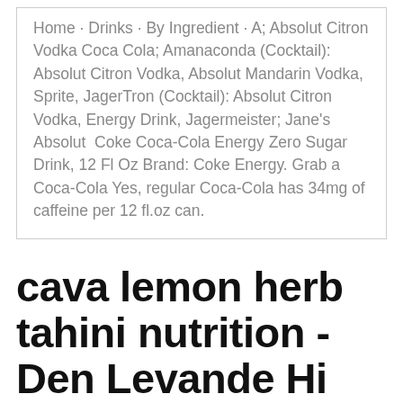Home · Drinks · By Ingredient · A; Absolut Citron Vodka Coca Cola; Amanaconda (Cocktail): Absolut Citron Vodka, Absolut Mandarin Vodka, Sprite, JagerTron (Cocktail): Absolut Citron Vodka, Energy Drink, Jagermeister; Jane's Absolut  Coke Coca-Cola Energy Zero Sugar Drink, 12 Fl Oz Brand: Coke Energy. Grab a Coca-Cola Yes, regular Coca-Cola has 34mg of caffeine per 12 fl.oz can.
cava lemon herb tahini nutrition - Den Levande Historien